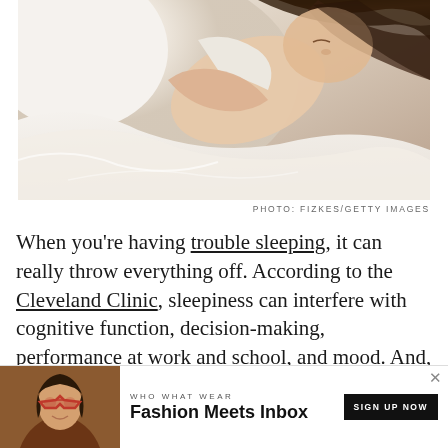[Figure (photo): Woman sleeping in bed, hugging a white pillow, viewed from above. She is wearing a white top and has long dark hair spread on white bedding.]
PHOTO: FIZKES/GETTY IMAGES
When you're having trouble sleeping, it can really throw everything off. According to the Cleveland Clinic, sleepiness can interfere with cognitive function, decision-making, performance at work and school, and mood. And, if left untreated, your inability to sleep can contribute to conditi...
[Figure (screenshot): Advertisement banner: WHO WHAT WEAR / Fashion Meets Inbox / SIGN UP NOW with a photo of a woman wearing cat-eye glasses and a close X button.]